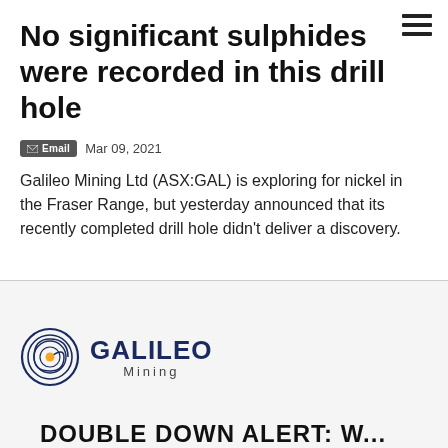No significant sulphides were recorded in this drill hole
Mar 09, 2021
Galileo Mining Ltd (ASX:GAL) is exploring for nickel in the Fraser Range, but yesterday announced that its recently completed drill hole didn't deliver a discovery.
[Figure (logo): Galileo Mining logo with spiral graphic and company name]
DOUBLE DOWN ALERT: W...